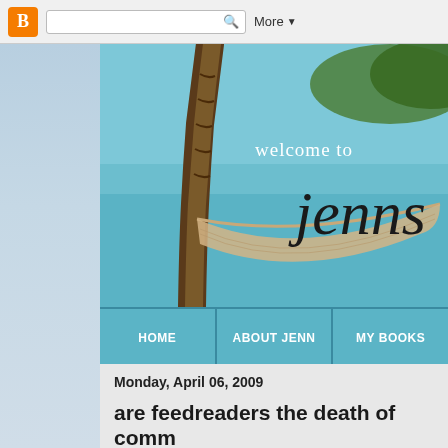Blogger navigation bar with search and More button
[Figure (screenshot): Blog header image showing a tropical beach scene with a palm tree, hammock, turquoise water, and text 'welcome to jenns']
[Figure (screenshot): Navigation bar with links: Home, About Jenn, My Books]
Monday, April 06, 2009
are feedreaders the death of comm
because 1 post about comments apparently isn't eno